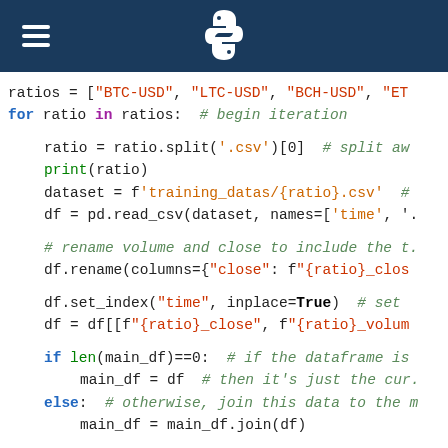[Figure (logo): Python documentation page header with dark blue background, hamburger menu icon on left, Python logo (snake icon) in center]
ratios = ["BTC-USD", "LTC-USD", "BCH-USD", "ET
for ratio in ratios:  # begin iteration

    ratio = ratio.split('.csv')[0]  # split aw
    print(ratio)
    dataset = f'training_datas/{ratio}.csv'  #
    df = pd.read_csv(dataset, names=['time', '.

    # rename volume and close to include the t.
    df.rename(columns={"close": f"{ratio}_clos

    df.set_index("time", inplace=True)  # set
    df = df[[f"{ratio}_close", f"{ratio}_volum

    if len(main_df)==0:  # if the dataframe is
        main_df = df  # then it's just the cur.
    else:  # otherwise, join this data to the m
        main_df = main_df.join(df)